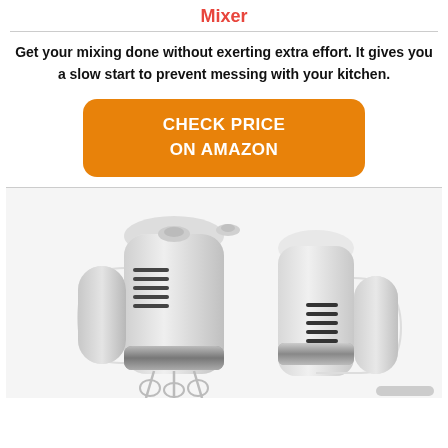Mixer
Get your mixing done without exerting extra effort. It gives you a slow start to prevent messing with your kitchen.
[Figure (other): Orange rounded rectangle button with white bold text reading CHECK PRICE ON AMAZON]
[Figure (photo): Close-up photo of a white hand mixer with silver accents and whisk attachment against a white background]